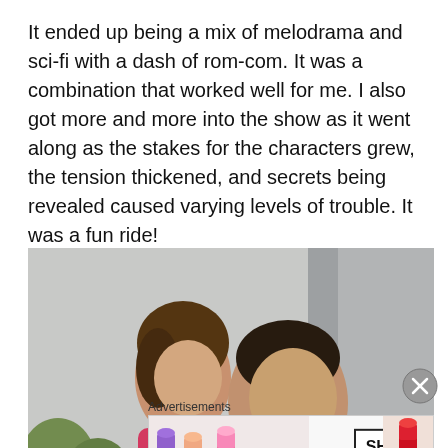It ended up being a mix of melodrama and sci-fi with a dash of rom-com. It was a combination that worked well for me. I also got more and more into the show as it went along as the stakes for the characters grew, the tension thickened, and secrets being revealed caused varying levels of trouble. It was a fun ride!
[Figure (photo): Two people, a young woman and a young man, standing close together outdoors in front of a concrete building. The woman wearing pink is leaning on the man's shoulder. Both looking at the camera.]
Advertisements
[Figure (photo): MAC cosmetics advertisement showing multiple lipsticks in purple, peach, and pink colors on the left side with MAC logo in the center and a SHOP NOW box on the right.]